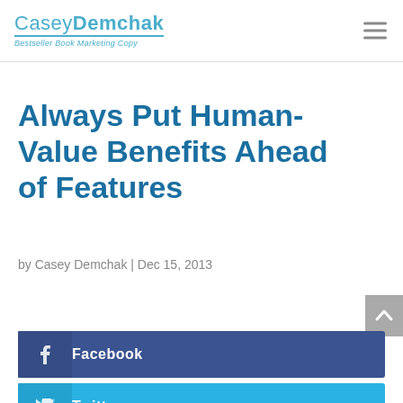CaseyDemchak — Bestseller Book Marketing Copy
Always Put Human-Value Benefits Ahead of Features
by Casey Demchak | Dec 15, 2013
[Figure (infographic): Social share buttons: Facebook, Twitter, LinkedIn]